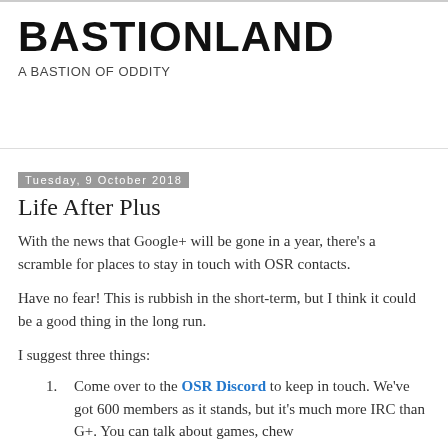BASTIONLAND
A BASTION OF ODDITY
Tuesday, 9 October 2018
Life After Plus
With the news that Google+ will be gone in a year, there's a scramble for places to stay in touch with OSR contacts.
Have no fear! This is rubbish in the short-term, but I think it could be a good thing in the long run.
I suggest three things:
Come over to the OSR Discord to keep in touch. We've got 600 members as it stands, but it's much more IRC than G+. You can talk about games, chew